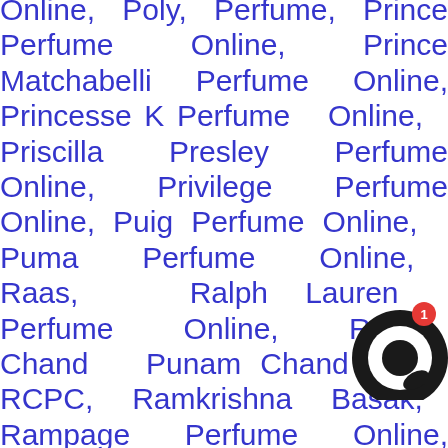Online, Poly, Perfume, Prince Perfume Online, Prince Matchabelli Perfume Online, Princesse K Perfume Online, Priscilla Presley Perfume Online, Privilege Perfume Online, Puig Perfume Online, Puma Perfume Online, Raas, Ralph Lauren Perfume Online, Ram Chand Punam Chand - RCPC, Ramkrishna Basak, Rampage Perfume Online, Rance Perfume Online, Rang, Rasasi Perfume Online, Realm Fragrances Perfume Online, Reem Acra Perfume Online, Regency Cosmetics Perfume Online, Regines Perfume Online, Remy Latour Perfume Online, Remy Marquis Perfume Online, Repetto Perfume Online, Revillon Perfume Online, Reyba Perfume Online, Reyane Tradition Perfume Online, Rich